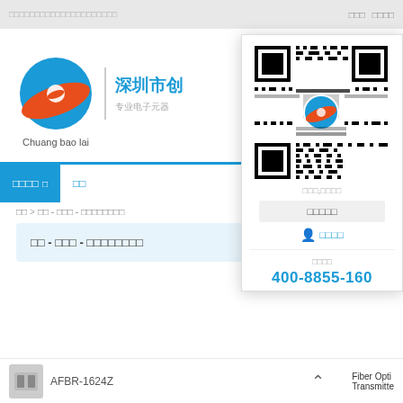顶部导航栏 登录 注册
[Figure (logo): Chuangbaolai company logo with blue circle and red swoosh, text: Chuang bao lai]
深圳市创
专业电子元器
[Figure (other): QR code popup with Chuangbaolai logo in center, scan to follow options, phone number 400-8855-160]
□□□,□□□□
□□□□□
□□□□
□□□□
400-8855-160
□□□□ □ □□
□□ > □□ - □□□ - □□□□□□□□
□□ - □□□ - □□□□□□□□
AFBR-1624Z
Fiber Opti...
Transmitte...